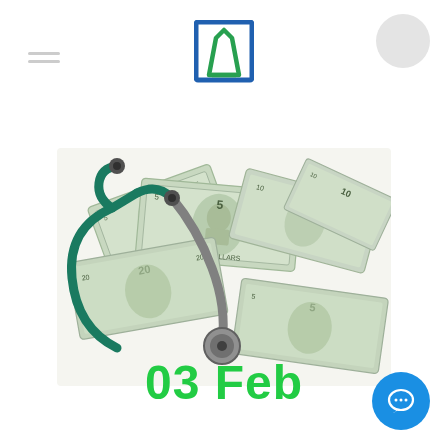[Figure (logo): A stylized arch/road logo with blue outline and green road stripe inside]
[Figure (photo): A medical stethoscope with green tubing lying on top of a scattered pile of US dollar bills (5, 10, 20 dollar notes), symbolizing healthcare costs or medical insurance]
03 Feb